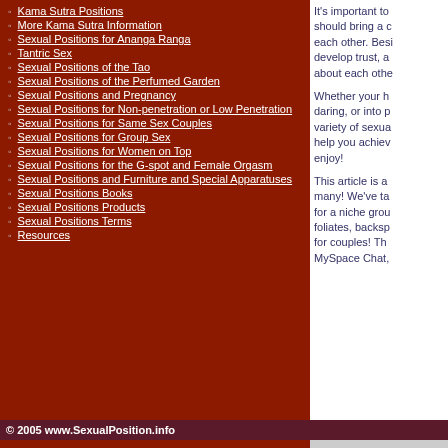Kama Sutra Positions
More Kama Sutra Information
Sexual Positions for Ananga Ranga
Tantric Sex
Sexual Positions of the Tao
Sexual Positions of the Perfumed Garden
Sexual Positions and Pregnancy
Sexual Positions for Non-penetration or Low Penetration
Sexual Positions for Same Sex Couples
Sexual Positions for Group Sex
Sexual Positions for Women on Top
Sexual Positions for the G-spot and Female Orgasm
Sexual Positions and Furniture and Special Apparatuses
Sexual Positions Books
Sexual Positions Products
Sexual Positions Terms
Resources
It's important to should bring a c each other. Besi develop trust, a about each othe
Whether your h daring, or into p variety of sexua help you achiev enjoy!
This article is a many! We've ta for a niche grou foliates, backsp for couples! Th MySpace Chat,
© 2005 www.SexualPosition.info